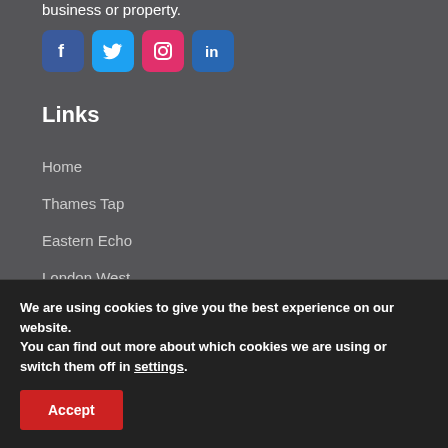business or property.
[Figure (other): Social media icons: Facebook (blue), Twitter (light blue), Instagram (pink/red), LinkedIn (blue)]
Links
Home
Thames Tap
Eastern Echo
London West
Events
UK Prop Social
About
We are using cookies to give you the best experience on our website.
You can find out more about which cookies we are using or switch them off in settings.
Accept